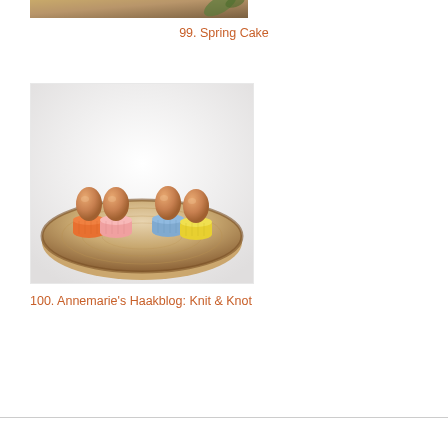[Figure (photo): Partial view of a food/craft item on a wooden surface, top portion of image cut off]
99. Spring Cake
[Figure (photo): Four brown eggs sitting in small crocheted egg cups (orange, pink, blue, yellow) placed on a round wooden slice/board, white background]
100. Annemarie's Haakblog: Knit & Knot